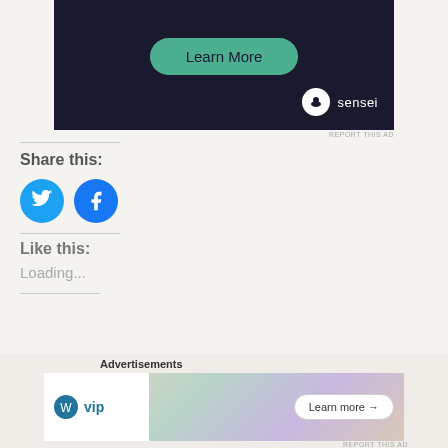[Figure (screenshot): Dark advertisement banner with 'Learn More' green button and Sensei logo at bottom right]
REPORT THIS AD
Share this:
[Figure (infographic): Twitter and Facebook social share icons (blue circles with white bird and f logos)]
Like this:
Loading...
Advertisements
[Figure (screenshot): WordPress VIP advertisement banner with Learn more arrow button and colorful background cards]